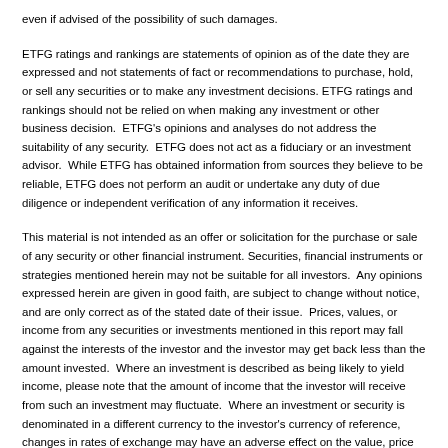even if advised of the possibility of such damages.
ETFG ratings and rankings are statements of opinion as of the date they are expressed and not statements of fact or recommendations to purchase, hold, or sell any securities or to make any investment decisions. ETFG ratings and rankings should not be relied on when making any investment or other business decision. ETFG's opinions and analyses do not address the suitability of any security. ETFG does not act as a fiduciary or an investment advisor. While ETFG has obtained information from sources they believe to be reliable, ETFG does not perform an audit or undertake any duty of due diligence or independent verification of any information it receives.
This material is not intended as an offer or solicitation for the purchase or sale of any security or other financial instrument. Securities, financial instruments or strategies mentioned herein may not be suitable for all investors. Any opinions expressed herein are given in good faith, are subject to change without notice, and are only correct as of the stated date of their issue. Prices, values, or income from any securities or investments mentioned in this report may fall against the interests of the investor and the investor may get back less than the amount invested. Where an investment is described as being likely to yield income, please note that the amount of income that the investor will receive from such an investment may fluctuate. Where an investment or security is denominated in a different currency to the investor's currency of reference, changes in rates of exchange may have an adverse effect on the value, price or income of or from that investment to the